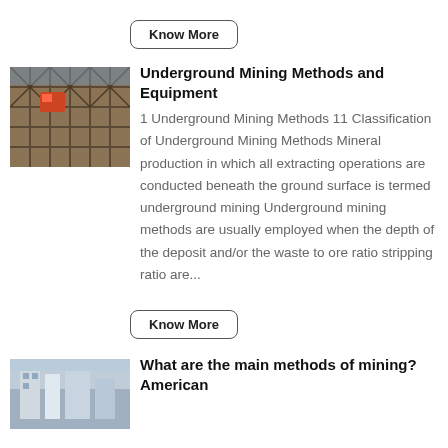Know More
[Figure (photo): Underground mining operation photo showing construction/scaffolding]
Underground Mining Methods and Equipment
1 Underground Mining Methods 11 Classification of Underground Mining Methods Mineral production in which all extracting operations are conducted beneath the ground surface is termed underground mining Underground mining methods are usually employed when the depth of the deposit and/or the waste to ore ratio stripping ratio are...
Know More
[Figure (photo): Photo related to main methods of mining - American]
What are the main methods of mining? American